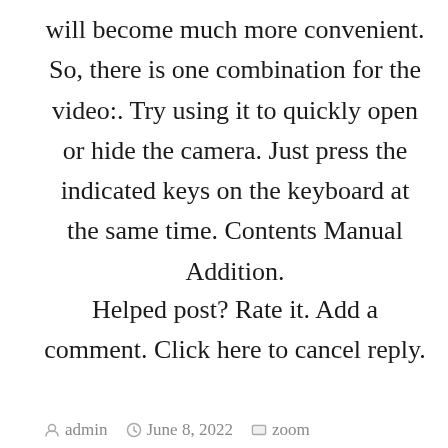will become much more convenient. So, there is one combination for the video:. Try using it to quickly open or hide the camera. Just press the indicated keys on the keyboard at the same time. Contents Manual Addition.
Helped post? Rate it. Add a comment. Click here to cancel reply.
admin   June 8, 2022   zoom